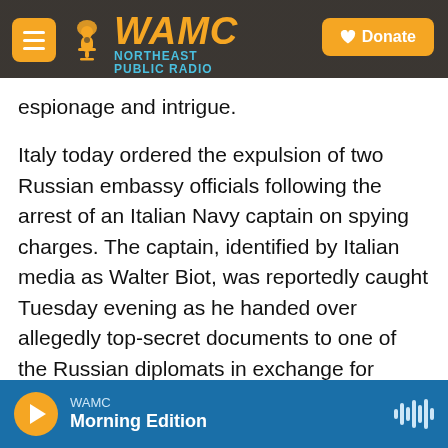WAMC NORTHEAST PUBLIC RADIO — Donate
espionage and intrigue.
Italy today ordered the expulsion of two Russian embassy officials following the arrest of an Italian Navy captain on spying charges. The captain, identified by Italian media as Walter Biot, was reportedly caught Tuesday evening as he handed over allegedly top-secret documents to one of the Russian diplomats in exchange for money.
Foreign Minister Luigi Di Maio summoned the Russian ambassador and told the Italian Senate the alleged exchange is "a hostile act of extreme
WAMC Morning Edition